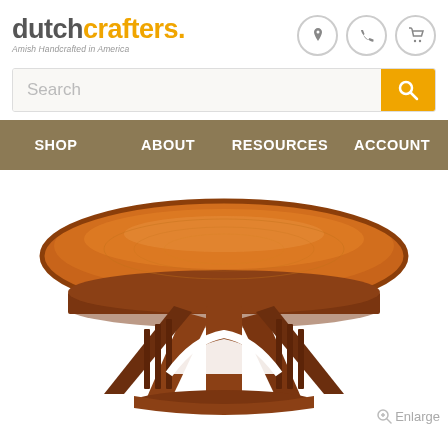[Figure (logo): DutchCrafters logo with tagline 'Amish Handcrafted in America']
[Figure (screenshot): Header icons: location pin, phone, shopping cart in circles]
Search
SHOP   ABOUT   RESOURCES   ACCOUNT
[Figure (photo): Amish handcrafted round pedestal dining table with Mission-style base, oak wood with warm brown finish, shown from slightly above angle on white background]
Enlarge